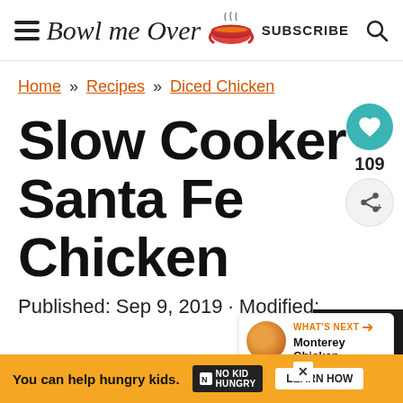Bowl me Over — SUBSCRIBE
Home » Recipes » Diced Chicken
Slow Cooker Santa Fe Chicken
Published: Sep 9, 2019 · Modified:
[Figure (screenshot): What's Next widget showing Monterey Chicken with circular thumbnail image]
[Figure (infographic): Ad banner: You can help hungry kids. No Kid Hungry. Learn How.]